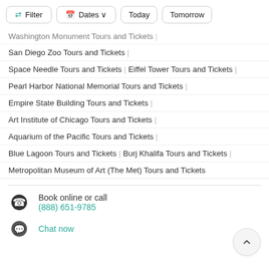Filter | Dates | Today | Tomorrow
Washington Monument Tours and Tickets |
San Diego Zoo Tours and Tickets |
Space Needle Tours and Tickets | Eiffel Tower Tours and Tickets |
Pearl Harbor National Memorial Tours and Tickets |
Empire State Building Tours and Tickets |
Art Institute of Chicago Tours and Tickets |
Aquarium of the Pacific Tours and Tickets |
Blue Lagoon Tours and Tickets | Burj Khalifa Tours and Tickets |
Metropolitan Museum of Art (The Met) Tours and Tickets
Book online or call
(888) 651-9785
Chat now